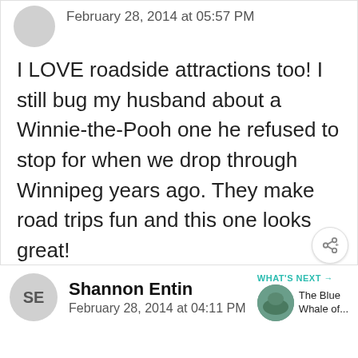February 28, 2014 at 05:57 PM
I LOVE roadside attractions too! I still bug my husband about a Winnie-the-Pooh one he refused to stop for when we drop through Winnipeg years ago. They make road trips fun and this one looks great!
↩ Reply
WHAT'S NEXT →
The Blue Whale of...
Shannon Entin
February 28, 2014 at 04:11 PM